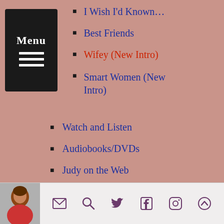I Wish I'd Known...
Best Friends
Wifey (New Intro)
Smart Women (New Intro)
Watch and Listen
Audiobooks/DVDs
Judy on the Web
More About Judy
More About the Books
Photo of Judy Blume, email icon, search icon, Twitter icon, Facebook icon, Instagram icon, scroll-to-top icon